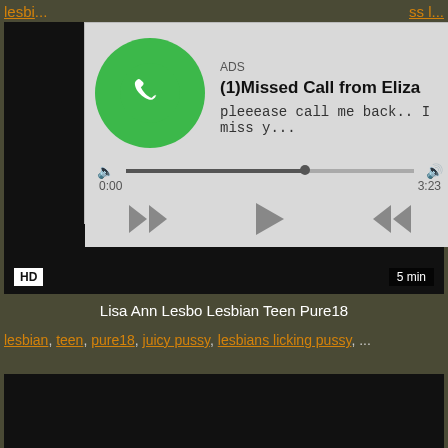lesbi... ss l...
[Figure (screenshot): Audio/media player ad overlay showing a missed call notification with green phone icon, progress bar, and playback controls. Title: (1)Missed Call from Eliza. Subtitle: pleeease call me back.. I miss y... Time shown: 0:00 to 3:23]
[Figure (screenshot): Dark video thumbnail with HD badge bottom-left and '5 min' badge bottom-right]
Lisa Ann Lesbo Lesbian Teen Pure18
lesbian, teen, pure18, juicy pussy, lesbians licking pussy, ...
[Figure (screenshot): Dark video thumbnail, bottom of page]